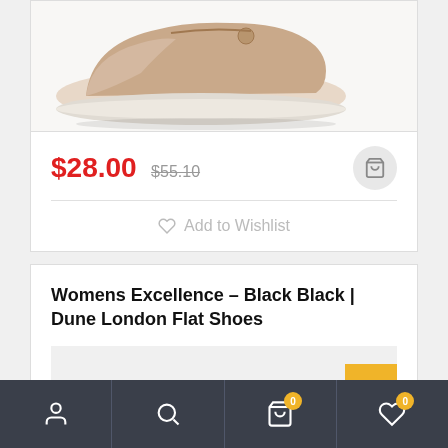[Figure (photo): Partial view of a beige/nude flat sneaker shoe on white sole, cropped at top]
$28.00 $55.10
Add to Wishlist
Womens Excellence – Black Black | Dune London Flat Shoes
[Figure (photo): Product image area for Dune London flat shoes, partially visible]
Navigation bar with icons: user, search, cart (0), wishlist (0)